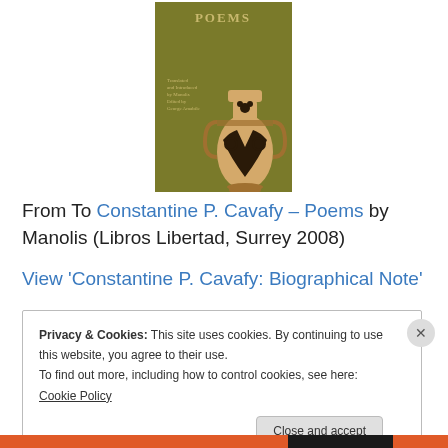[Figure (photo): Book cover of 'Constantine P. Cavafy – Poems', olive/khaki green background with a Greek black-figure pottery vase in the center, title 'POEMS' at top in gold letters, small text below reading 'Translated and Introduced by Manolis, Edited by George Amabile']
From To Constantine P. Cavafy – Poems by Manolis (Libros Libertad, Surrey 2008)
View 'Constantine P. Cavafy: Biographical Note'
Privacy & Cookies: This site uses cookies. By continuing to use this website, you agree to their use.
To find out more, including how to control cookies, see here: Cookie Policy